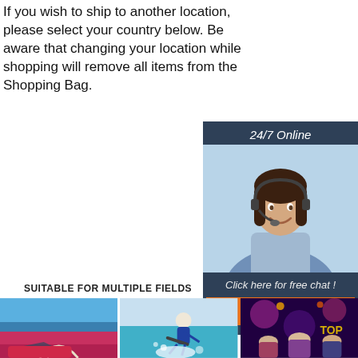If you wish to ship to another location, please select your country below. Be aware that changing your location while shopping will remove all items from the Shopping Bag.
Get Price
[Figure (screenshot): 24/7 Online chat widget with a woman wearing a headset, dark blue background. Includes 'Click here for free chat!' text and an orange QUOTATION button.]
SUITABLE FOR MULTIPLE FIELDS
[Figure (photo): Photo of a red car on a winding road with blue sky and ocean in background]
[Figure (photo): Photo of a snowboarder performing a trick with blue and teal tones]
[Figure (photo): Photo of people at a party/nightclub with colorful lights]